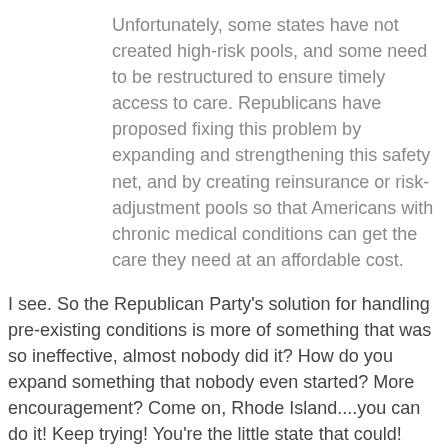Unfortunately, some states have not created high-risk pools, and some need to be restructured to ensure timely access to care. Republicans have proposed fixing this problem by expanding and strengthening this safety net, and by creating reinsurance or risk-adjustment pools so that Americans with chronic medical conditions can get the care they need at an affordable cost.
I see. So the Republican Party's solution for handling pre-existing conditions is more of something that was so ineffective, almost nobody did it? How do you expand something that nobody even started? More encouragement? Come on, Rhode Island....you can do it! Keep trying! You're the little state that could!
This is the drivel you get when you are commanded by your party to never say the word "mandate." Sorry, but sometimes you have to tell people (or insurance companies specifically) to do or not do things; otherwise, they'll cook up ways to lose 18 billion in a year on credit default swaps. Any of you